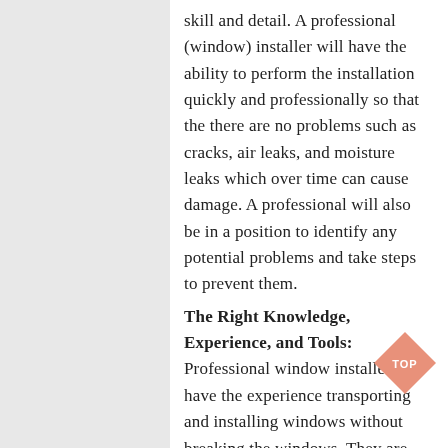skill and detail. A professional (window) installer will have the ability to perform the installation quickly and professionally so that the there are no problems such as cracks, air leaks, and moisture leaks which over time can cause damage. A professional will also be in a position to identify any potential problems and take steps to prevent them.
The Right Knowledge, Experience, and Tools: Professional window installers have the experience transporting and installing windows without breaking the windows. They are using the right equipment and tools to make sure the installation process is done correctly. As well, they are experienced with properly installing windows and doors to ensure a proper and secure go well with.
[Figure (other): A salmon/coral colored diamond shape button with the text 'TOP' in white, used as a back-to-top navigation element.]
Window Installer Guarantee: When you use